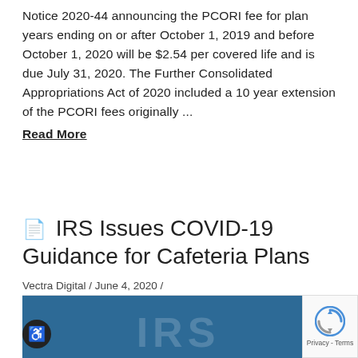Notice 2020-44 announcing the PCORI fee for plan years ending on or after October 1, 2019 and before October 1, 2020 will be $2.54 per covered life and is due July 31, 2020. The Further Consolidated Appropriations Act of 2020 included a 10 year extension of the PCORI fees originally ...
Read More
IRS Issues COVID-19 Guidance for Cafeteria Plans
Vectra Digital / June 4, 2020 / Blog, Health & Welfare, Private Self-Funded Health Plan
[Figure (photo): Dark blue banner image with large white IRS letters partially visible at the bottom]